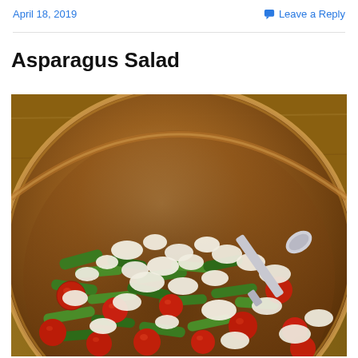April 18, 2019    Leave a Reply
Asparagus Salad
[Figure (photo): A bowl of asparagus salad with cherry tomatoes and crumbled feta cheese, with a spoon, set on a wooden surface.]